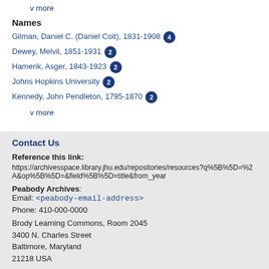v more
Names
Gilman, Daniel C. (Daniel Coit), 1831-1908 [4]
Dewey, Melvil, 1851-1931 [2]
Hamerik, Asger, 1843-1923 [2]
Johns Hopkins University [2]
Kennedy, John Pendleton, 1795-1870 [2]
v more
Contact Us
Reference this link:
https://archivesspace.library.jhu.edu/repositories/resources?q%5B%5D=%2A&op%5B%5D=&field%5B%5D=title&from_year
Peabody Archives: Email: <peabody-email-address>
Phone: 410-000-0000
Brody Learning Commons, Room 2045
3400 N. Charles Street
Baltimore, Maryland
21218 USA